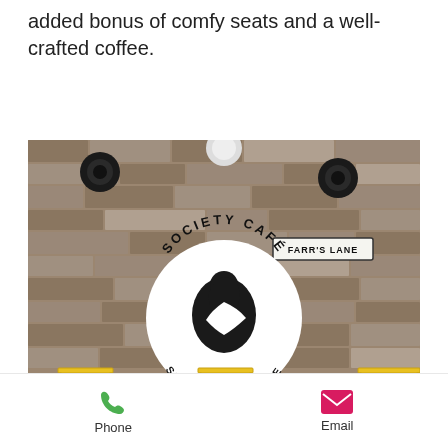added bonus of comfy seats and a well-crafted coffee.
[Figure (photo): Exterior stone wall of Society Cafe Speciality Coffee on Farr's Lane, with circular white logo featuring a woman's silhouette, yellow bistro tables and chairs outside, and small pink flower arrangements on the tables.]
Phone   Email